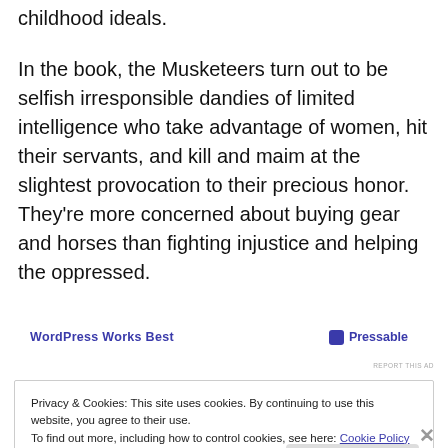childhood ideals.
In the book, the Musketeers turn out to be selfish irresponsible dandies of limited intelligence who take advantage of women, hit their servants, and kill and maim at the slightest provocation to their precious honor. They're more concerned about buying gear and horses than fighting injustice and helping the oppressed.
[Figure (other): Advertisement banner: WordPress Works Best | Pressable logo]
REPORT THIS AD
Privacy & Cookies: This site uses cookies. By continuing to use this website, you agree to their use.
To find out more, including how to control cookies, see here: Cookie Policy